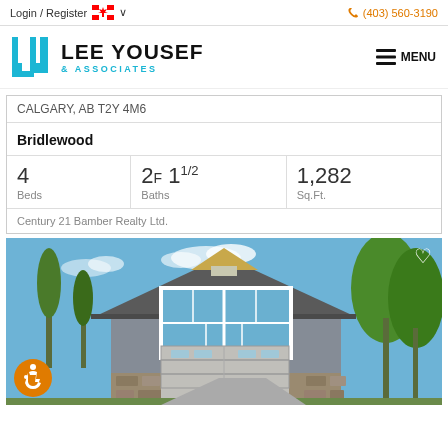Login / Register  (403) 560-3190
[Figure (logo): Lee Yousef & Associates real estate logo with blue LY icon]
CALGARY, AB T2Y 4M6
Bridlewood
4 Beds  2F 11/2 Baths  1,282 Sq.Ft.
Century 21 Bamber Realty Ltd.
[Figure (photo): Exterior photo of a two-story craftsman-style house with gray siding, large front window, stone accents, and trees]